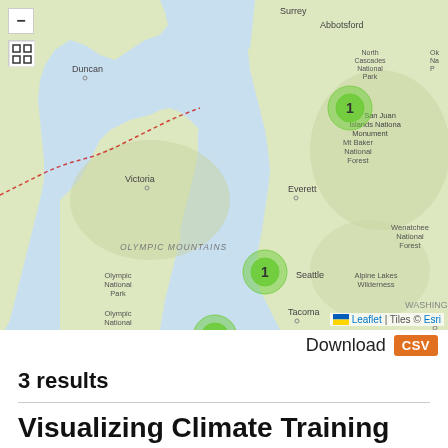[Figure (map): Interactive map showing the Pacific Northwest region (Washington State area) with three green cluster markers each labeled '1', located near San Juan Islands National Monument, Seattle, and Olympia. Map includes zoom controls and fullscreen button. Attribution shows Leaflet and Tiles © Esri.]
Download CSV
3 results
Visualizing Climate Training...